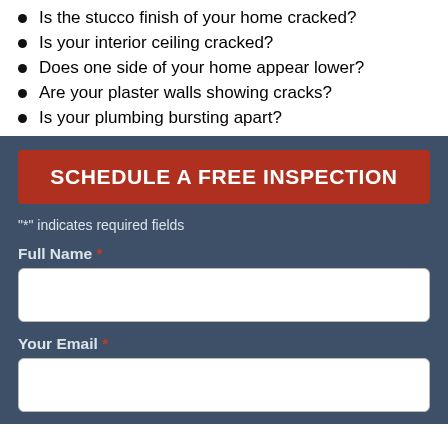Is the stucco finish of your home cracked?
Is your interior ceiling cracked?
Does one side of your home appear lower?
Are your plaster walls showing cracks?
Is your plumbing bursting apart?
SCHEDULE A FREE INSPECTION
"*" indicates required fields
Full Name *
Your Email *